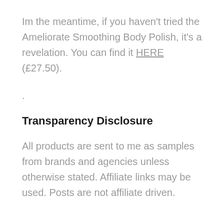Im the meantime, if you haven't tried the Ameliorate Smoothing Body Polish, it's a revelation. You can find it HERE (£27.50).
.
Transparency Disclosure
All products are sent to me as samples from brands and agencies unless otherwise stated. Affiliate links may be used. Posts are not affiliate driven.